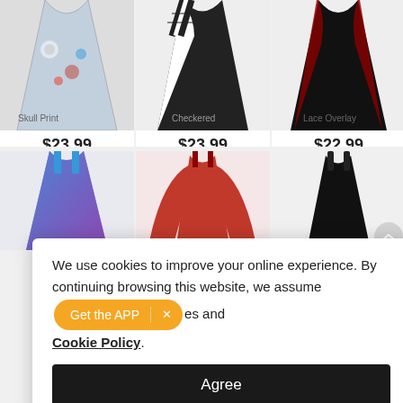[Figure (photo): Gothic skull and roses print flared dress, black/white/red/blue]
$23.99
[Figure (photo): Black and white checkered plus solid black flared dress]
$23.99
[Figure (photo): Black flared dress with red floral lace overlay]
$22.99
[Figure (photo): Colorful blue/purple skull print sundress with straps]
[Figure (photo): Red cold-shoulder long bell-sleeve flared dress]
[Figure (photo): Black faux leather mini dress with lace straps]
We use cookies to improve your online experience. By continuing browsing this website, we assume you agree our use of cookies and Cookie Policy.
Get the APP
Agree